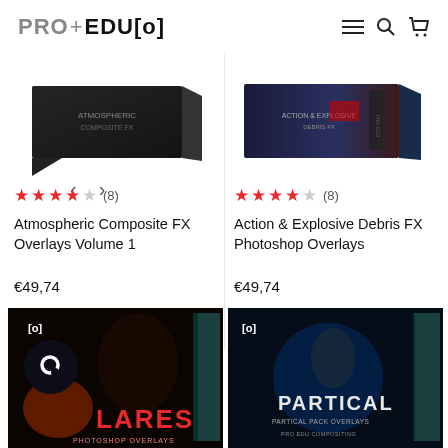PRO+EDU[o]
[Figure (photo): Product box for Atmospheric Composite FX Overlays Volume 1, dark packaging with thumbnail imagery]
[Figure (photo): Product box for Action & Explosive Debris FX Photoshop Overlays, dark packaging with action imagery]
★★★★☆ (8)
★★★★☆ (8)
Atmospheric Composite FX Overlays Volume 1
Action & Explosive Debris FX Photoshop Overlays
€49,74
€49,74
[Figure (photo): Product box for a lens flares Photoshop overlays pack, teal accent packaging with close-up face photography]
[Figure (photo): Product box for Partical Pack Overlays, teal accent packaging with athlete/action photography]